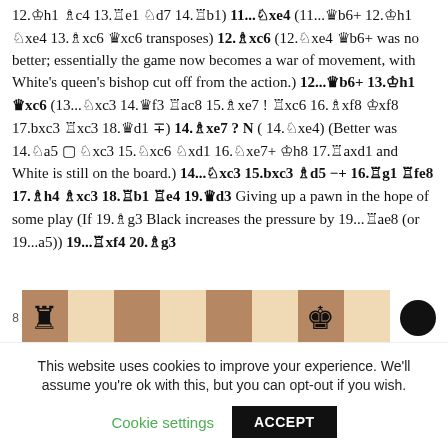12.♔h1 ♗c4 13.♖e1 ♘d7 14.♖b1) 11...♘xe4 (11...♛b6+ 12.♔h1 ♘xe4 13.♗xc6 ♛xc6 transposes) 12.♗xc6 (12.♘xe4 ♛b6+ was no better; essentially the game now becomes a war of movement, with White's queen's bishop cut off from the action.) 12...♛b6+ 13.♔h1 ♛xc6 (13...♘xc3 14.♛f3 ♖ac8 15.♗xe7 ! ♖xc6 16.♗xf8 ♔xf8 17.bxc3 ♖xc3 18.♛d1 ∓) 14.♗xe7 ? N ( 14.♘xe4) (Better was 14.♘a5 ▢ ♘xc3 15.♘xc6 ♘xd1 16.♘xe7+ ♔h8 17.♖axd1 and White is still on the board.) 14...♘xc3 15.bxc3 ♗d5 −+ 16.♖g1 ♖fe8 17.♗h4 ♗xc3 18.♖b1 ♖e4 19.♛d3 Giving up a pawn in the hope of some play (If 19.♗g3 Black increases the pressure by 19...♖ae8 (or 19...a5)) 19...♖xf4 20.♗g3
[Figure (other): Partial chess board row showing rank 8 with a black rook on a8 (dark square), empty squares, black king on g8 (light square), empty dark square, and a black circle to the right indicating it is Black's turn.]
This website uses cookies to improve your experience. We'll assume you're ok with this, but you can opt-out if you wish.
Cookie settings   ACCEPT